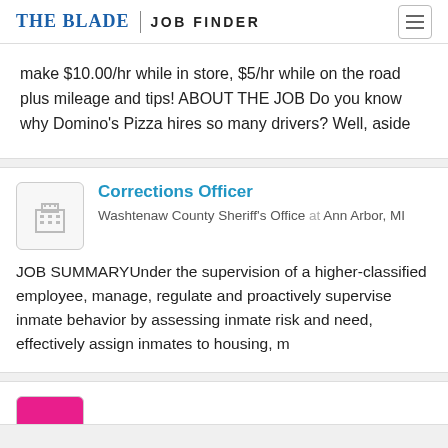THE BLADE | JOB FINDER
make $10.00/hr while in store, $5/hr while on the road plus mileage and tips!  ABOUT THE JOB Do you know why Domino's Pizza hires so many drivers? Well, aside
Corrections Officer
Washtenaw County Sheriff's Office at Ann Arbor, MI
JOB SUMMARYUnder the supervision of a higher-classified employee, manage, regulate and proactively supervise inmate behavior by assessing inmate risk and need, effectively assign inmates to housing, m